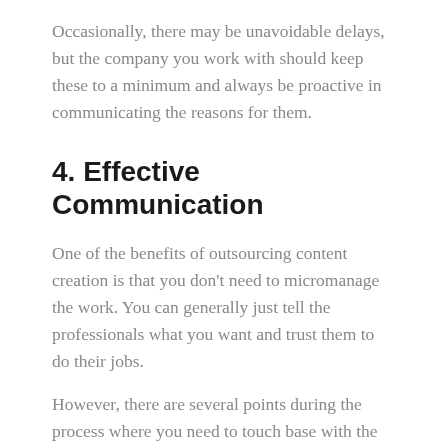Occasionally, there may be unavoidable delays, but the company you work with should keep these to a minimum and always be proactive in communicating the reasons for them.
4. Effective Communication
One of the benefits of outsourcing content creation is that you don't need to micromanage the work. You can generally just tell the professionals what you want and trust them to do their jobs.
However, there are several points during the process where you need to touch base with the professionals. Certainly at the beginning, you